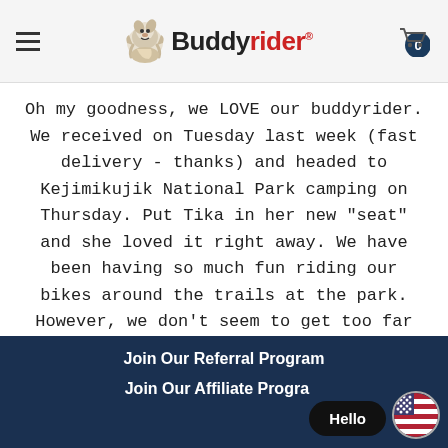Buddyrider® - navigation header with hamburger menu and cart
Oh my goodness, we LOVE our buddyrider. We received on Tuesday last week (fast delivery - thanks) and headed to Kejimikujik National Park camping on Thursday. Put Tika in her new "seat" and she loved it right away. We have been having so much fun riding our bikes around the trails at the park. However, we don't seem to get too far when someone stops us and asks where we got the neat bike seat for our dog. Thank you very much for allowing
The cookie settings on this website are set to 'allow all cookies' to give you the very best experience. Please click Accept
Join Our Referral Program
Join Our Affiliate Program